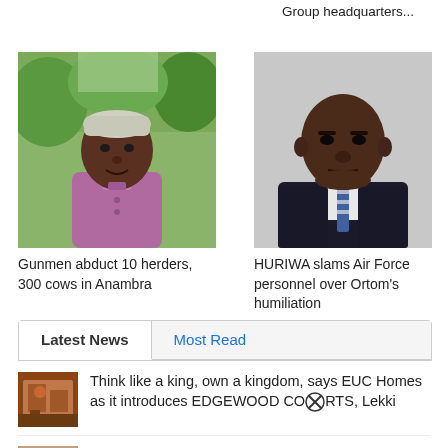Group headquarters...
[Figure (photo): Man wearing grey cap and purple traditional attire, outdoors with green trees in background]
[Figure (photo): Man in dark suit and striped tie, formal portrait against light background]
Gunmen abduct 10 herders, 300 cows in Anambra
HURIWA slams Air Force personnel over Ortom's humiliation
Latest News | Most Read
Think like a king, own a kingdom, says EUC Homes as it introduces EDGEWOOD COURTS, Lekki
Oil chief dies after falling from hospital window